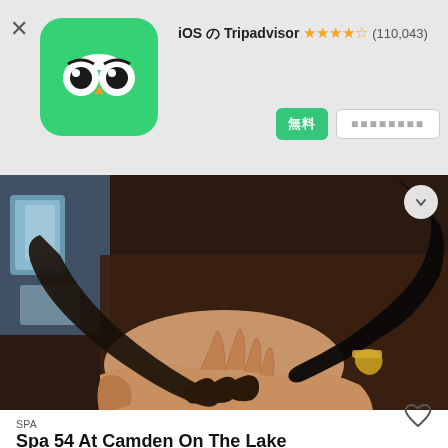[Figure (logo): Tripadvisor owl logo on green rounded square background]
iOS の Tripadvisor ★★★★½ (110,043)
[Figure (photo): Close-up photo of hands performing a spa/massage treatment, dark background with product bottles visible]
SPA
Spa 54 At Camden On The Lake
●●●●● 11 件の口コミ
Lake Ozarkから 2 件のスパ&ウェルネス (第 4 位)